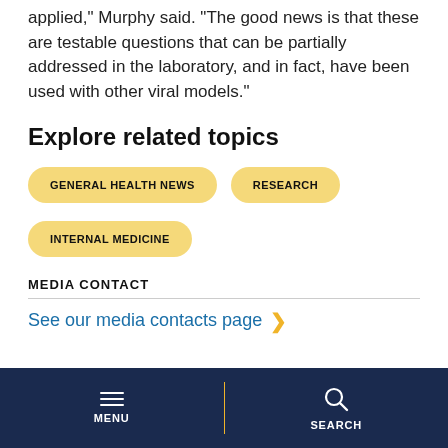applied," Murphy said. "The good news is that these are testable questions that can be partially addressed in the laboratory, and in fact, have been used with other viral models."
Explore related topics
GENERAL HEALTH NEWS
RESEARCH
INTERNAL MEDICINE
MEDIA CONTACT
See our media contacts page ›
MENU | SEARCH